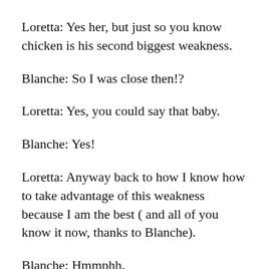Loretta: Yes her, but just so you know chicken is his second biggest weakness.
Blanche: So I was close then!?
Loretta: Yes, you could say that baby.
Blanche: Yes!
Loretta: Anyway back to how I know how to take advantage of this weakness because I am the best ( and all of you know it now, thanks to Blanche).
Blanche: Hmmphh.